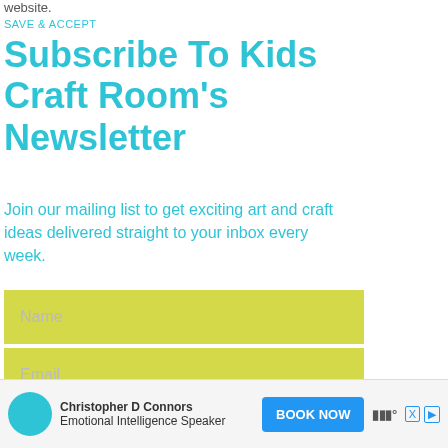website.
SAVE & ACCEPT
Subscribe To Kids Craft Room's Newsletter
Join our mailing list to get exciting art and craft ideas delivered straight to your inbox every week.
[Figure (screenshot): Newsletter signup form with yellow/olive background Name and Email input fields and a cyan 'Sign Up Now' button]
[Figure (infographic): Advertisement bar at bottom: Christopher D Connors - Emotional Intelligence Speaker with BOOK NOW button]